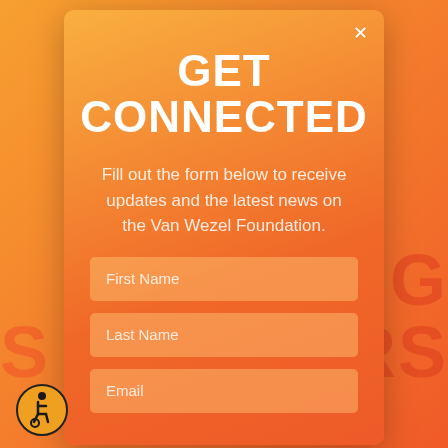GET CONNECTED
Fill out the form below to receive updates and the latest news on the Van Wezel Foundation.
[Figure (infographic): Form with three input fields: First Name, Last Name, Email on an orange gradient modal popup]
[Figure (illustration): Accessibility wheelchair icon — circular orange badge with wheelchair user symbol]